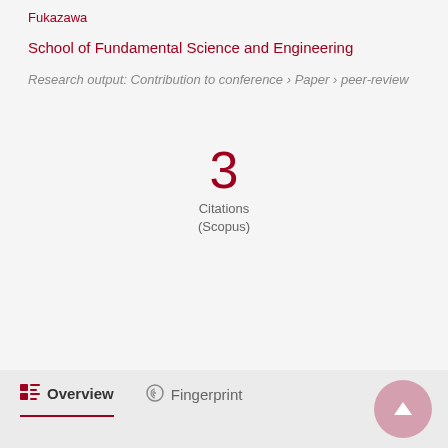Fukazawa
School of Fundamental Science and Engineering
Research output: Contribution to conference › Paper › peer-review
3 Citations (Scopus)
Overview   Fingerprint